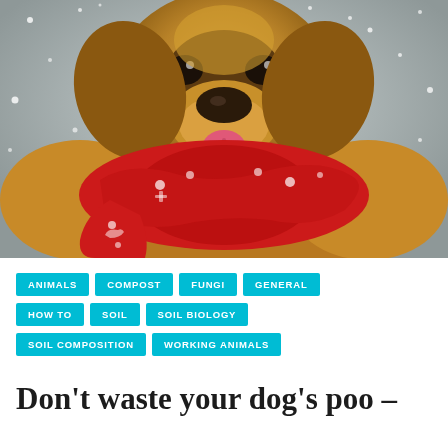[Figure (photo): A fluffy tan/golden dog wearing a red knitted scarf with white snowflake patterns, photographed against a grey background with snowflakes falling. The dog has its tongue out and appears happy.]
ANIMALS
COMPOST
FUNGI
GENERAL
HOW TO
SOIL
SOIL BIOLOGY
SOIL COMPOSITION
WORKING ANIMALS
Don't waste your dog's poo –